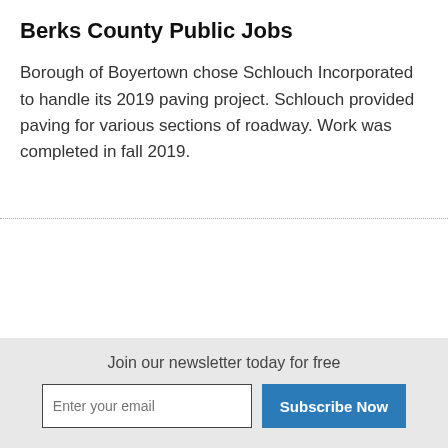Berks County Public Jobs
Borough of Boyertown chose Schlouch Incorporated to handle its 2019 paving project. Schlouch provided paving for various sections of roadway. Work was completed in fall 2019.
Join our newsletter today for free